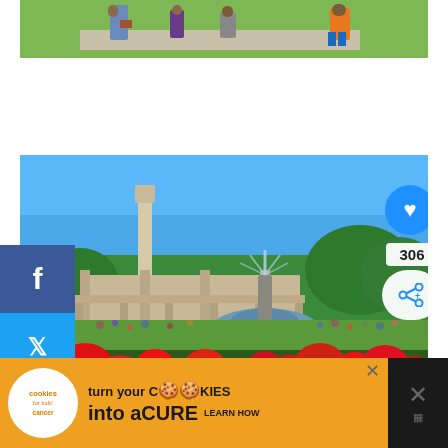[Figure (photo): Top portion of a photo showing children running/playing outdoors on a path with grass, one child in blue outfit, another in orange shirt]
[Figure (photo): Vigeland Sculpture Park in Oslo, Norway. Large stone monolith in center background, ornate bridge/colonnade architecture, large fountain in middle ground, red flowers in foreground, blue sky, green trees. Social share buttons overlaid on left (Facebook, Twitter, Pinterest). Heart/like button (306) and share button on right. 'What's Next' overlay showing '7-Day Itinerary for Kyoto wi...']
[Figure (photo): Advertisement banner: 'cookies for kids cancer' logo on left, orange background with text 'turn your COOKIES into a CURE LEARN HOW', close buttons on right]